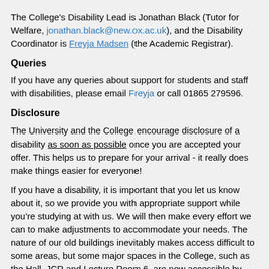The College's Disability Lead is Jonathan Black (Tutor for Welfare, jonathan.black@new.ox.ac.uk), and the Disability Coordinator is Freyja Madsen (the Academic Registrar).
Queries
If you have any queries about support for students and staff with disabilities, please email Freyja or call 01865 279596.
Disclosure
The University and the College encourage disclosure of a disability as soon as possible once you are accepted your offer. This helps us to prepare for your arrival - it really does make things easier for everyone!
If you have a disability, it is important that you let us know about it, so we provide you with appropriate support while you’re studying at with us. We will then make every effort we can to make adjustments to accommodate your needs. The nature of our old buildings inevitably makes access difficult to some areas, but some major spaces in the College, such as the Hall, JCR and Lecture Room 6, are now accessible by wheelchair and we have adapted some student rooms to be accessible.